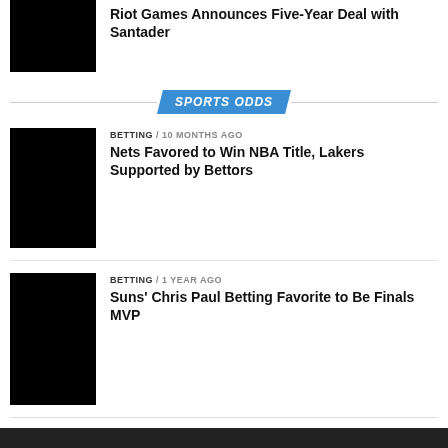Riot Games Announces Five-Year Deal with Santader
SPORTS ODDS
BETTING / 10 months ago
Nets Favored to Win NBA Title, Lakers Supported by Bettors
BETTING / 1 year ago
Suns' Chris Paul Betting Favorite to Be Finals MVP
BETTING / 2 years ago
Chiefs Favorites to Win Super Bowl LVI